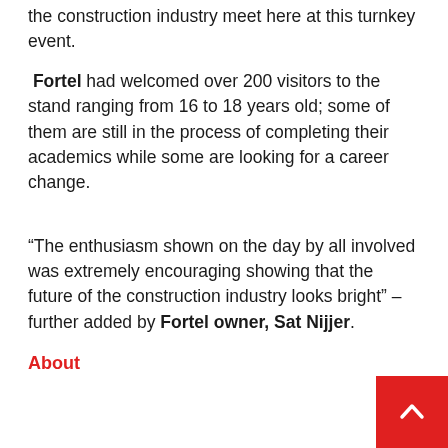the construction industry meet here at this turnkey event.
Fortel had welcomed over 200 visitors to the stand ranging from 16 to 18 years old; some of them are still in the process of completing their academics while some are looking for a career change.
“The enthusiasm shown on the day by all involved was extremely encouraging showing that the future of the construction industry looks bright” – further added by Fortel owner, Sat Nijjer.
About